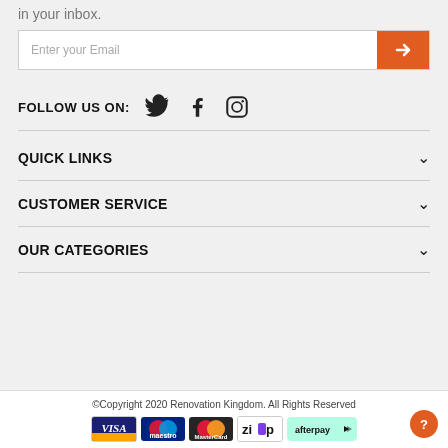in your inbox.
Enter your Email
FOLLOW US ON:
QUICK LINKS
CUSTOMER SERVICE
OUR CATEGORIES
©Copyright 2020 Renovation Kingdom. All Rights Reserved
[Figure (other): Payment method logos: VISA, Maestro, MasterCard, Zip, Afterpay]